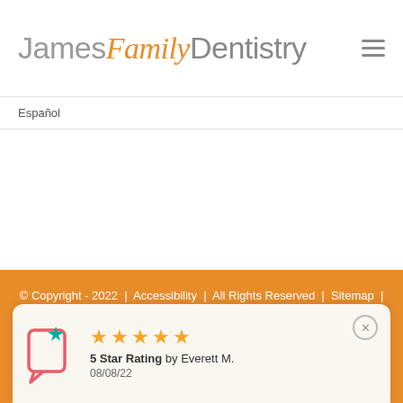James Family Dentistry
Español
© Copyright - 2022 | Accessibility | All Rights Reserved | Sitemap | Website by Inbound Authority
[Figure (logo): Social media icons: Facebook and Twitter in white on orange background]
5 Star Rating by Everett M. 08/08/22